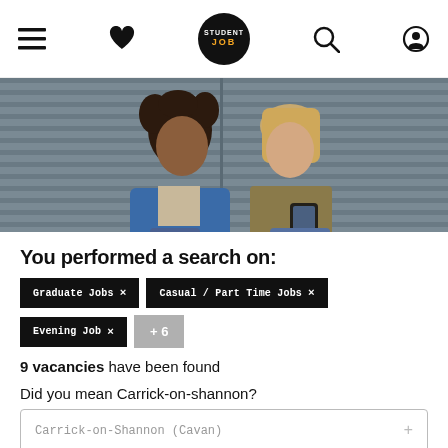StudentJob navigation bar with hamburger menu, heart/favorites, StudentJob logo, search, and account icons
[Figure (photo): Two young women sitting against a metal shutter background, one with curly hair looking away, another blonde looking at her phone]
You performed a search on:
Graduate Jobs ×   Casual / Part Time Jobs ×
Evening Job ×   +6
9 vacancies have been found
Did you mean Carrick-on-shannon?
Carrick-on-Shannon (Cavan) +
Carrick-on-Shannon (Longford) +